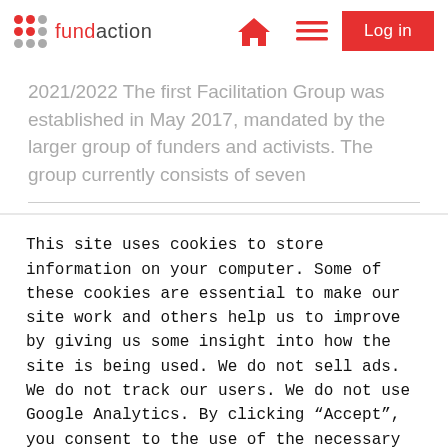fundaction | Log in
2021/2022 The first Facilitation Group was established in May 2017, mandated by the larger group of funders and activists. The group currently consists of seven
This site uses cookies to store information on your computer. Some of these cookies are essential to make our site work and others help us to improve by giving us some insight into how the site is being used. We do not sell ads. We do not track our users. We do not use Google Analytics. By clicking “Accept”, you consent to the use of the necessary cookies.